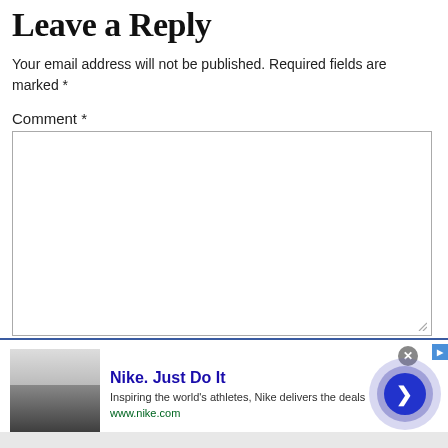Leave a Reply
Your email address will not be published. Required fields are marked *
Comment *
[Figure (screenshot): Empty comment text area input box with resize handle in bottom-right corner]
[Figure (screenshot): Nike advertisement banner: image on left showing dark background with text, Nike. Just Do It headline, description 'Inspiring the world's athletes, Nike delivers the deals', www.nike.com URL, close X button, and animated arrow circle on right]